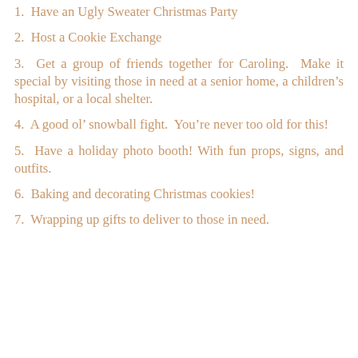1.  Have an Ugly Sweater Christmas Party
2.  Host a Cookie Exchange
3.  Get a group of friends together for Caroling.  Make it special by visiting those in need at a senior home, a children’s hospital, or a local shelter.
4.  A good ol’ snowball fight.  You’re never too old for this!
5.  Have a holiday photo booth! With fun props, signs, and outfits.
6.  Baking and decorating Christmas cookies!
7.  Wrapping up gifts to deliver to those in need.